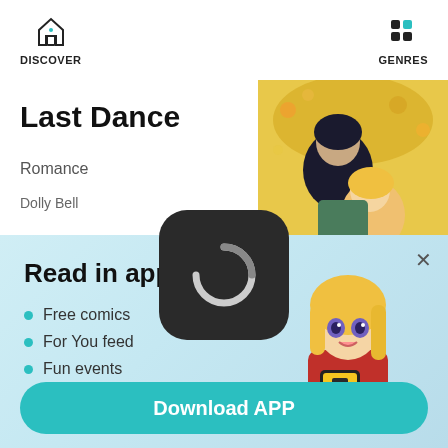DISCOVER   GENRES
Last Dance
Romance
Dolly Bell
[Figure (illustration): Manga-style cover art showing two characters: a dark-haired male and a blonde female with autumn leaves background]
[Figure (screenshot): App promo overlay with loading spinner icon, anime character holding phone, and Download APP button]
Read in app for
Free comics
For You feed
Fun events
Download APP